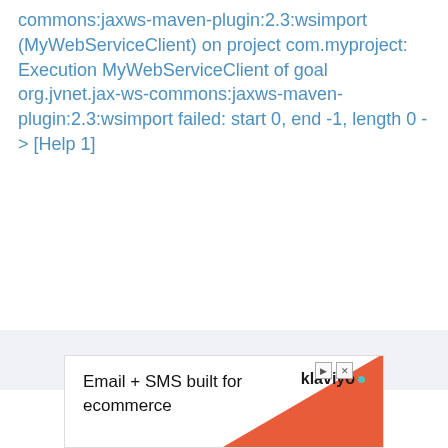commons:jaxws-maven-plugin:2.3:wsimport (MyWebServiceClient) on project com.myproject: Execution MyWebServiceClient of goal org.jvnet.jax-ws-commons:jaxws-maven-plugin:2.3:wsimport failed: start 0, end -1, length 0 -> [Help 1]
[Figure (other): Advertisement banner: 'Email + SMS built for ecommerce' with Klaviyo logo and orange/red triangle graphic in bottom-right corner.]